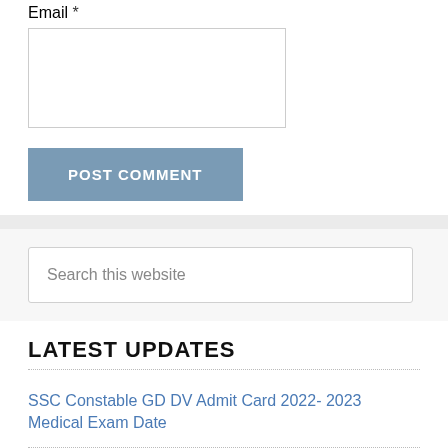Email *
[email input field]
POST COMMENT
Search this website
LATEST UPDATES
SSC Constable GD DV Admit Card 2022- 2023 Medical Exam Date
CCS University Result 2022 (link) यहाँ ccsuresults.com BA